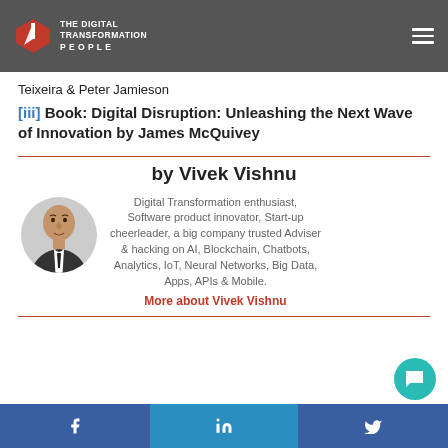The Digital Transformation People
Teixeira & Peter Jamieson
[iii] Book: Digital Disruption: Unleashing the Next Wave of Innovation by James McQuivey
by Vivek Vishnu
[Figure (photo): Circular portrait photo of Vivek Vishnu, a man in a dark suit and tie]
Digital Transformation enthusiast, Software product innovator, Start-up cheerleader, a big company trusted Adviser & hacking on AI, Blockchain, Chatbots, Analytics, IoT, Neural Networks, Big Data, Apps, APIs & Mobile.
More about Vivek Vishnu
f  in  Twitter bird icon